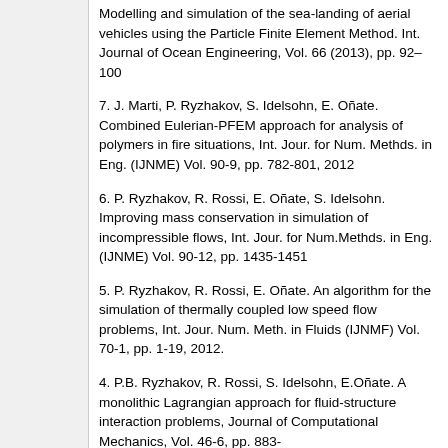Modelling and simulation of the sea-landing of aerial vehicles using the Particle Finite Element Method. Int. Journal of Ocean Engineering, Vol. 66 (2013), pp. 92–100
7. J. Marti, P. Ryzhakov, S. Idelsohn, E. Oñate. Combined Eulerian-PFEM approach for analysis of polymers in fire situations, Int. Jour. for Num. Methds. in Eng. (IJNME) Vol. 90-9, pp. 782-801, 2012
6. P. Ryzhakov, R. Rossi, E. Oñate, S. Idelsohn. Improving mass conservation in simulation of incompressible flows, Int. Jour. for Num.Methds. in Eng. (IJNME) Vol. 90-12, pp. 1435-1451
5. P. Ryzhakov, R. Rossi, E. Oñate. An algorithm for the simulation of thermally coupled low speed flow problems, Int. Jour. Num. Meth. in Fluids (IJNMF) Vol. 70-1, pp. 1-19, 2012.
4. P.B. Ryzhakov, R. Rossi, S. Idelsohn, E.Oñate. A monolithic Lagrangian approach for fluid-structure interaction problems, Journal of Computational Mechanics, Vol. 46-6, pp. 883-